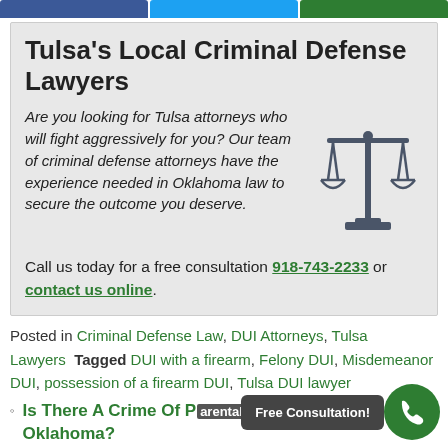[Figure (other): Top navigation bar with three colored buttons: blue (Facebook), light blue (Twitter), green (share/other)]
Tulsa's Local Criminal Defense Lawyers
Are you looking for Tulsa attorneys who will fight aggressively for you? Our team of criminal defense attorneys have the experience needed in Oklahoma law to secure the outcome you deserve.
[Figure (illustration): Scales of justice icon in dark gray/charcoal color]
Call us today for a free consultation 918-743-2233 or contact us online.
Posted in Criminal Defense Law, DUI Attorneys, Tulsa Lawyers   Tagged DUI with a firearm, Felony DUI, Misdemeanor DUI, possession of a firearm DUI, Tulsa DUI lawyer
Is There A Crime Of Parental Kidnapping In Oklahoma?